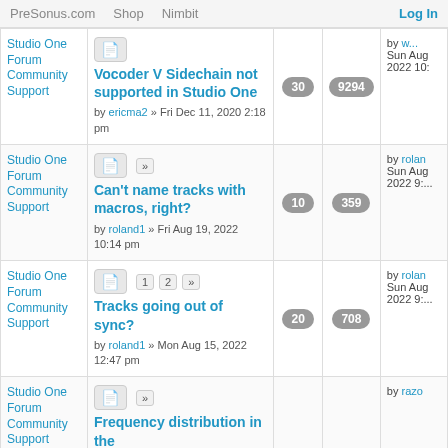PreSonus.com  Shop  Nimbit  Log In
| Category | Topic | Replies | Views | Last Post |
| --- | --- | --- | --- | --- |
| Studio One Forum Community Support | Vocoder V Sidechain not supported in Studio One by ericma2 » Fri Dec 11, 2020 2:18 pm | 30 | 9294 | by w... Sun Aug 2022 10:... |
| Studio One Forum Community Support | Can't name tracks with macros, right? by roland1 » Fri Aug 19, 2022 10:14 pm | 10 | 359 | by roland... Sun Aug 2022 9:... |
| Studio One Forum Community Support | Tracks going out of sync? by roland1 » Mon Aug 15, 2022 12:47 pm | 20 | 708 | by roland... Sun Aug 2022 9:... |
| Studio One Forum Community Support | Frequency distribution in the... |  |  | by razo... |